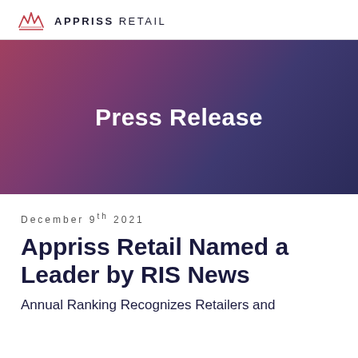APPRISS RETAIL
[Figure (illustration): Appriss Retail logo banner with gradient background reading Press Release]
December 9th 2021
Appriss Retail Named a Leader by RIS News
Annual Ranking Recognizes Retailers and